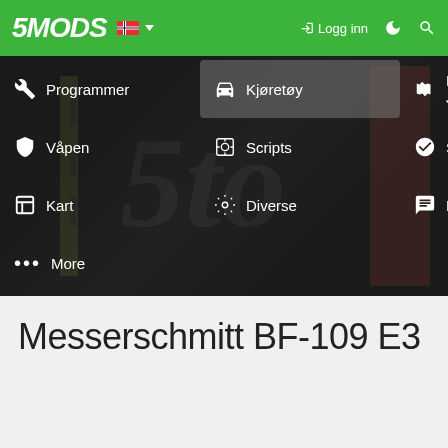5MODS | Kjøretøy | Paint Jobs | Våpen | Scripts | Spiller | Kart | Diverse | Forum | More | Logg inn
[Figure (screenshot): 5MODS website navigation screenshot with green header bar, logo, Norwegian flag, Logg inn button, and dropdown navigation menu showing: Programmer, Kjøretøy (highlighted), Paint Jobs, Våpen, Scripts, Spiller, Kart, Diverse, Forum, More. Background shows dark game screenshot.]
Messerschmitt BF-109 E3